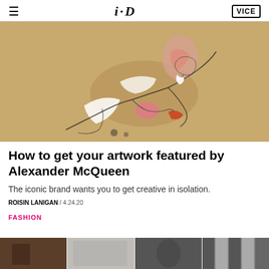i-D / VICE
[Figure (illustration): A fashion illustration of a reclining figure in a tan/brown suit with white highlights and pink accents, drawn in a loose sketchy style on brown paper background.]
How to get your artwork featured by Alexander McQueen
The iconic brand wants you to get creative in isolation.
ROISIN LANIGAN / 4.24.20
FASHION
[Figure (photo): A row of four partial thumbnail photos in black and white at the bottom of the page.]